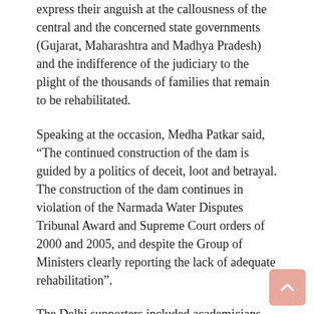express their anguish at the callousness of the central and the concerned state governments (Gujarat, Maharashtra and Madhya Pradesh) and the indifference of the judiciary to the plight of the thousands of families that remain to be rehabilitated.
Speaking at the occasion, Medha Patkar said, “The continued construction of the dam is guided by a politics of deceit, loot and betrayal. The construction of the dam continues in violation of the Narmada Water Disputes Tribunal Award and Supreme Court orders of 2000 and 2005, and despite the Group of Ministers clearly reporting the lack of adequate rehabilitation”.
The Delhi supporters included academicians and activists like, Kamal Mitra Chenoy, Dr. Nandini Sunder, Dunu Roy, Subhash Borkar, Kavita Krishnan, Arudhati Roy, V T Padmanabhan, Dr. Jimmy Dabhy and Sumit Chakravarty. Academician and peace activist Dr. T.K. John inaugurated the convention.